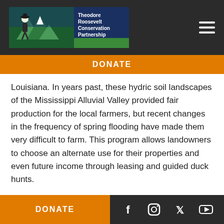[Figure (logo): Theodore Roosevelt Conservation Partnership logo with mountain and hiker silhouette on green/blue background]
DONATE
Louisiana. In years past, these hydric soil landscapes of the Mississippi Alluvial Valley provided fair production for the local farmers, but recent changes in the frequency of spring flooding have made them very difficult to farm. This program allows landowners to choose an alternate use for their properties and even future income through leasing and guided duck hunts.
With funding in place, TNC secured the services of a private specialized contractor, Natural State Streams, whose team specializes in all aspects of stream
DONATE
[Figure (infographic): Social media icons: Facebook, Instagram, Twitter, YouTube]